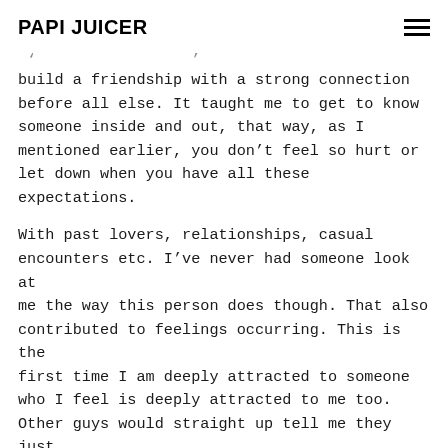PAPI JUICER
' '
build a friendship with a strong connection before all else. It taught me to get to know someone inside and out, that way, as I mentioned earlier, you don't feel so hurt or let down when you have all these expectations.
With past lovers, relationships, casual encounters etc. I've never had someone look at me the way this person does though. That also contributed to feelings occurring. This is the first time I am deeply attracted to someone who I feel is deeply attracted to me too. Other guys would straight up tell me they just liked my personality. I'd hear things like "looks aren't everything to me, I like good